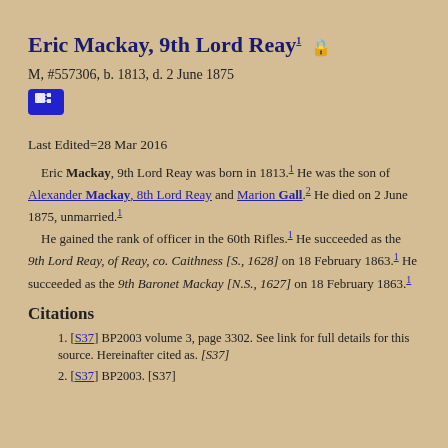Eric Mackay, 9th Lord Reay¹ 🔒
M, #557306, b. 1813, d. 2 June 1875
Last Edited=28 Mar 2016
Eric Mackay, 9th Lord Reay was born in 1813.¹ He was the son of Alexander Mackay, 8th Lord Reay and Marion Gall.² He died on 2 June 1875, unmarried.¹ He gained the rank of officer in the 60th Rifles.¹ He succeeded as the 9th Lord Reay, of Reay, co. Caithness [S., 1628] on 18 February 1863.¹ He succeeded as the 9th Baronet Mackay [N.S., 1627] on 18 February 1863.¹
Citations
1. [S37] BP2003 volume 3, page 3302. See link for full details for this source. Hereinafter cited as. [S37]
2. [S37] BP2003. [S37]